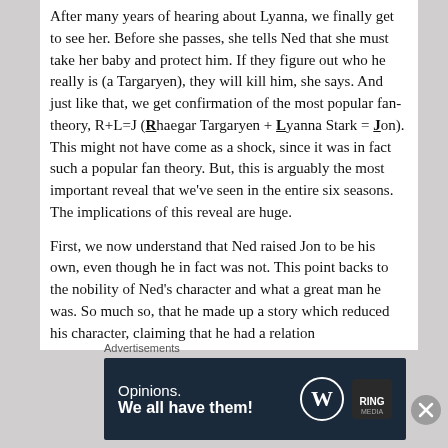After many years of hearing about Lyanna, we finally get to see her. Before she passes, she tells Ned that she must take her baby and protect him. If they figure out who he really is (a Targaryen), they will kill him, she says. And just like that, we get confirmation of the most popular fan-theory, R+L=J (Rhaegar Targaryen + Lyanna Stark = Jon). This might not have come as a shock, since it was in fact such a popular fan theory. But, this is arguably the most important reveal that we've seen in the entire six seasons. The implications of this reveal are huge.
First, we now understand that Ned raised Jon to be his own, even though he in fact was not. This point backs to the nobility of Ned's character and what a great man he was. So much so, that he made up a story which reduced his character, claiming that he had a relation
Advertisements
[Figure (other): Advertisement banner with dark navy background. Left side shows text 'Opinions. We all have them!' in white. Right side shows WordPress logo (W in circle) and a dark square brand logo.]